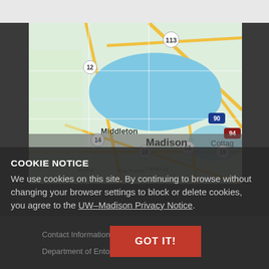[Figure (map): Google Maps view of Madison, Wisconsin area showing Lake Mendota, Middleton, Madison, and surrounding areas with highways 12, 14, 90, 94, 113, 18, 51 labeled.]
COOKIE NOTICE
We use cookies on this site. By continuing to browse without changing your browser settings to block or delete cookies, you agree to the UW–Madison Privacy Notice.
Contact Information
Department of Entomology
GOT IT!